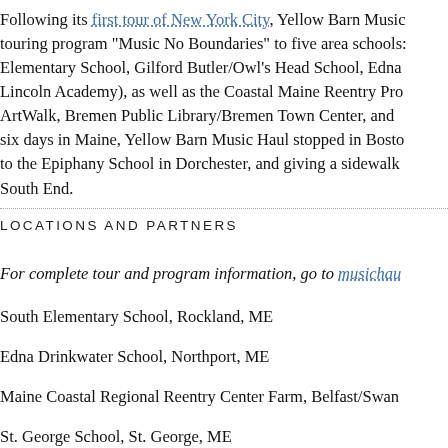Following its first tour of New York City, Yellow Barn Music touring program "Music No Boundaries" to five area schools: Elementary School, Gilford Butler/Owl's Head School, Edna Lincoln Academy), as well as the Coastal Maine Reentry Pro ArtWalk, Bremen Public Library/Bremen Town Center, and six days in Maine, Yellow Barn Music Haul stopped in Bosto to the Epiphany School in Dorchester, and giving a sidewalk South End.
LOCATIONS AND PARTNERS
For complete tour and program information, go to musichau
South Elementary School, Rockland, ME
Edna Drinkwater School, Northport, ME
Maine Coastal Regional Reentry Center Farm, Belfast/Swan
St. George School, St. George, ME